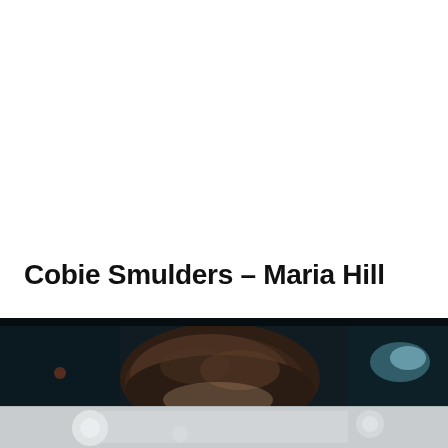Cobie Smulders – Maria Hill
[Figure (photo): Dark-toned photo showing the top of a woman's head with brown hair, in a dimly lit environment with dark teal/blue background and a faint light element visible on the right side.]
[Figure (photo): Light grey/white toned lower portion of a photo with faint bokeh light circles visible.]